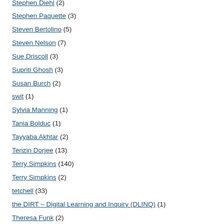Stephen Diehl (2)
Stephen Paquette (3)
Steven Bertolino (5)
Steven Nelson (7)
Sue Driscoll (3)
Supriti Ghosh (3)
Susan Burch (2)
swit (1)
Sylvia Manning (1)
Tania Bolduc (1)
Tayyaba Akhtar (2)
Tenzin Dorjee (13)
Terry Simpkins (140)
Terry Simpkins (2)
tetchell (33)
the DIRT – Digital Learning and Inquiry (DLINQ) (1)
Theresa Funk (2)
Thomas Corbin (5)
Tiffany Sargent (4)